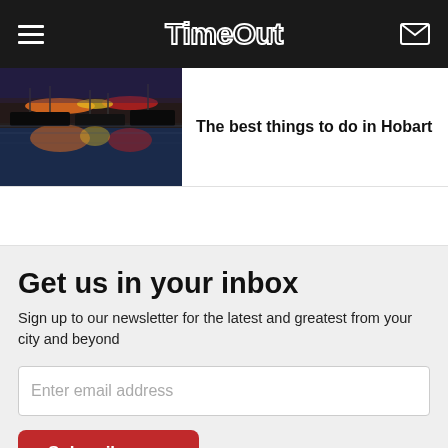TimeOut
[Figure (photo): Night photo of Hobart harbour with colorful reflections of lights and boats on water]
The best things to do in Hobart
Get us in your inbox
Sign up to our newsletter for the latest and greatest from your city and beyond
Enter email address
Subscribe now